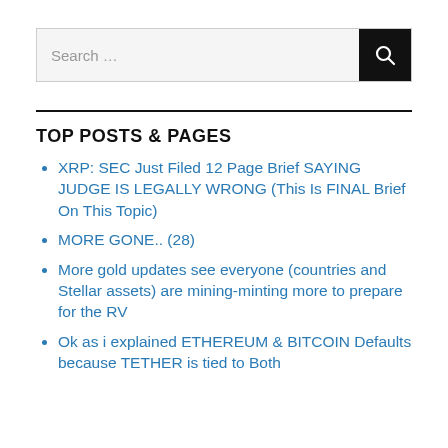Search …
TOP POSTS & PAGES
XRP: SEC Just Filed 12 Page Brief SAYING JUDGE IS LEGALLY WRONG (This Is FINAL Brief On This Topic)
MORE GONE.. (28)
More gold updates see everyone (countries and Stellar assets) are mining-minting more to prepare for the RV
Ok as i explained ETHEREUM & BITCOIN Defaults because TETHER is tied to Both